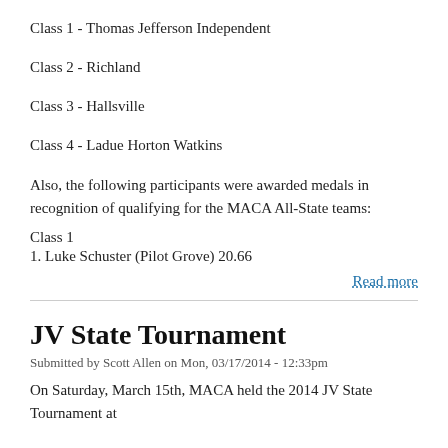Class 1 - Thomas Jefferson Independent
Class 2 - Richland
Class 3 - Hallsville
Class 4 - Ladue Horton Watkins
Also, the following participants were awarded medals in recognition of qualifying for the MACA All-State teams:
Class 1
1. Luke Schuster (Pilot Grove) 20.66
Read more
JV State Tournament
Submitted by Scott Allen on Mon, 03/17/2014 - 12:33pm
On Saturday, March 15th, MACA held the 2014 JV State Tournament at